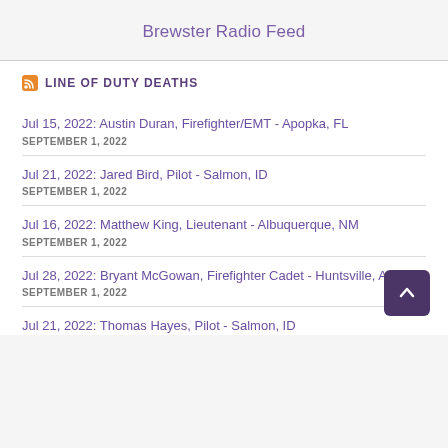Brewster Radio Feed
LINE OF DUTY DEATHS
Jul 15, 2022: Austin Duran, Firefighter/EMT - Apopka, FL
SEPTEMBER 1, 2022
Jul 21, 2022: Jared Bird, Pilot - Salmon, ID
SEPTEMBER 1, 2022
Jul 16, 2022: Matthew King, Lieutenant - Albuquerque, NM
SEPTEMBER 1, 2022
Jul 28, 2022: Bryant McGowan, Firefighter Cadet - Huntsville, AL
SEPTEMBER 1, 2022
Jul 21, 2022: Thomas Hayes, Pilot - Salmon, ID
SEPTEMBER 1, 2022